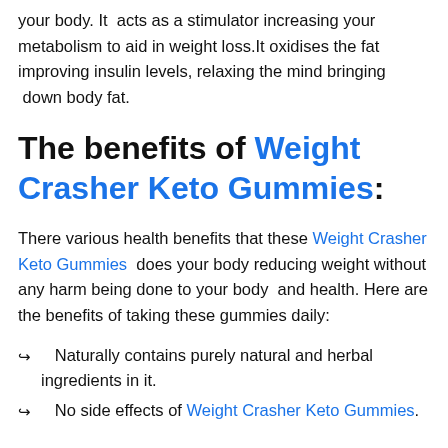your body. It acts as a stimulator increasing your metabolism to aid in weight loss.It oxidises the fat improving insulin levels, relaxing the mind bringing down body fat.
The benefits of Weight Crasher Keto Gummies:
There various health benefits that these Weight Crasher Keto Gummies does your body reducing weight without any harm being done to your body and health. Here are the benefits of taking these gummies daily:
Naturally contains purely natural and herbal ingredients in it.
No side effects of Weight Crasher Keto Gummies.